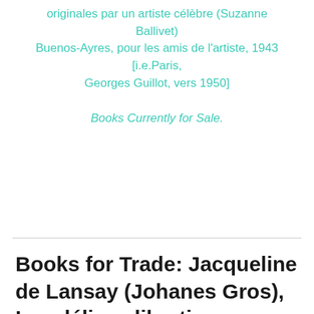originales par un artiste célèbre (Suzanne Ballivet) Buenos-Ayres, pour les amis de l'artiste, 1943 [i.e.Paris, Georges Guillot, vers 1950]
Books Currently for Sale.
Books for Trade: Jacqueline de Lansay (Johanes Gros), Les délices libertines. Roman inédit. Moncontour, au bonheur des dames. n.d. [Maurice Duflou,